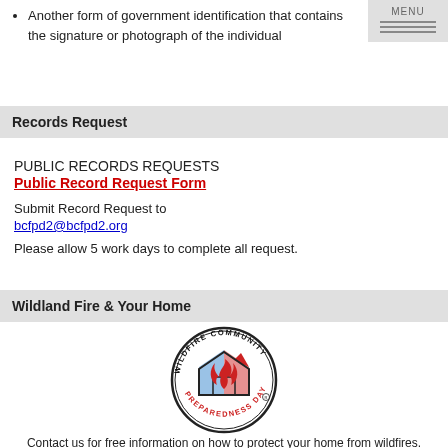Another form of government identification that contains the signature or photograph of the individual
Records Request
PUBLIC RECORDS REQUESTS
Public Record Request Form
Submit Record Request to
bcfpd2@bcfpd2.org
Please allow 5 work days to complete all request.
Wildland Fire & Your Home
[Figure (logo): Wildfire Community Preparedness Day circular logo with house and flame graphics]
Contact us for free information on how to protect your home from wildfires.